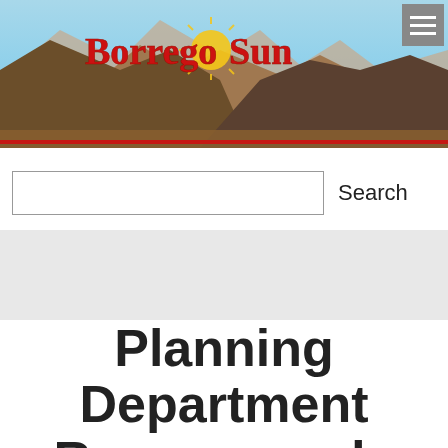[Figure (photo): Borrego Sun newspaper website header banner with mountain landscape background and red Borrego Sun logo text with sun graphic]
Borrego Sun
Search
Planning Department Recommends Denying Rudyville Request